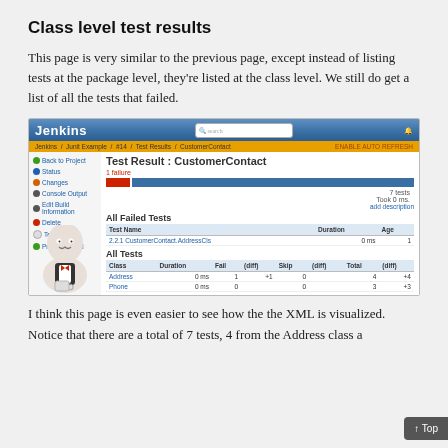Class level test results
This page is very similar to the previous page, except instead of listing tests at the package level, they're listed at the class level. We still do get a list of all the tests that failed.
[Figure (screenshot): Jenkins CI screenshot showing Test Result: CustomerContact page with 1 failure, All Failed Tests table showing 2.2.1 CustomerContact.AddressCls with 0ms duration, and All Tests table showing Address (4 total, 1 fail) and Phone (3 total, 0 fail) class rows.]
I think this page is even easier to see how the the XML is visualized. Notice that there are a total of 7 tests, 4 from the Address class a